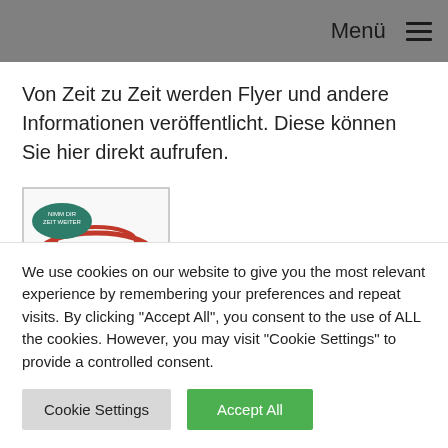Menü ☰
Von Zeit zu Zeit werden Flyer und andere Informationen veröffentlicht. Diese können Sie hier direkt aufrufen.
[Figure (illustration): Thumbnail image of a flyer for 'Agenda ÄLTERWERDEN in Emsdetten' with a red lip/wave graphic and a dark green oval badge.]
We use cookies on our website to give you the most relevant experience by remembering your preferences and repeat visits. By clicking "Accept All", you consent to the use of ALL the cookies. However, you may visit "Cookie Settings" to provide a controlled consent.